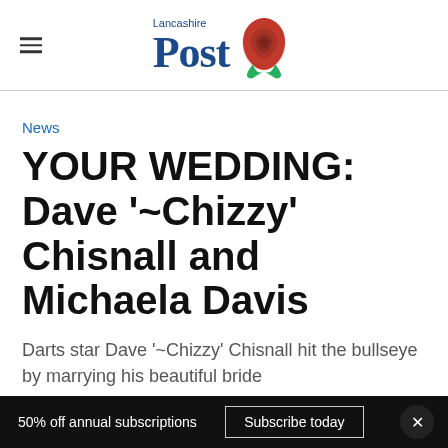Lancashire Post
News
YOUR WEDDING: Dave '~Chizzy' Chisnall and Michaela Davis
Darts star Dave '~Chizzy' Chisnall hit the bullseye by marrying his beautiful bride
50% off annual subscriptions  Subscribe today  ×